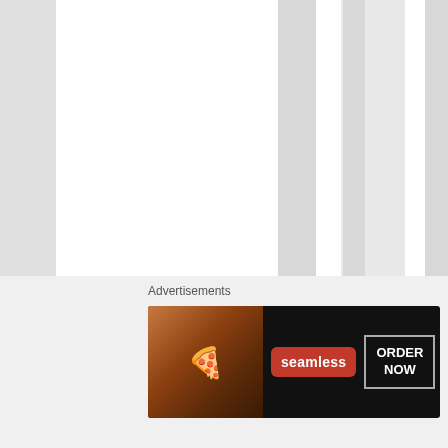r y o u r b r a v e r y t o o .
Advertisements
[Figure (screenshot): Seamless food delivery advertisement banner showing pizza slices on the left, Seamless logo in red in the center, and an ORDER NOW button on the right, all on a dark background.]